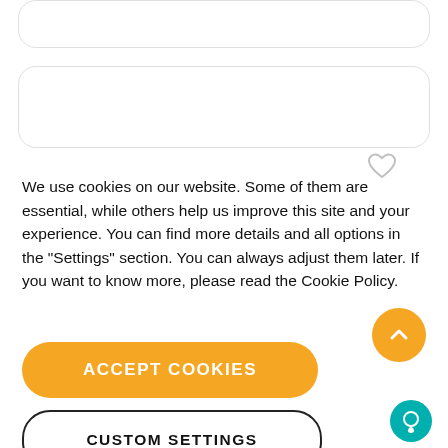[Figure (screenshot): Top card UI element with rounded border, partially visible]
[Figure (screenshot): Middle card UI element with rounded border and heart icon]
We use cookies on our website. Some of them are essential, while others help us improve this site and your experience. You can find more details and all options in the "Settings" section. You can always adjust them later. If you want to know more, please read the Cookie Policy.
[Figure (other): Orange circular scroll-up button with chevron/arrow icon]
[Figure (other): Orange rounded rectangle ACCEPT COOKIES button]
[Figure (other): White rounded rectangle CUSTOM SETTINGS button with dark border]
[Figure (other): Teal circular chat/support button in bottom-right corner]